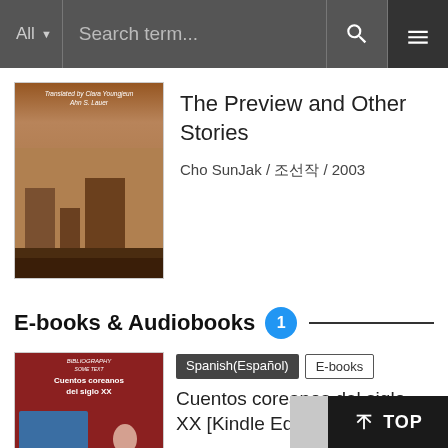All  Search term...
The Preview and Other Stories
Cho SunJak / 조선작 / 2003
E-books & Audiobooks  1
Spanish(Español)  E-books
Cuentos coreanos del siglo XX [Kindle Edition]
Hyeon Jin-Geon et al / 현진건 et al / 2009 / literature > Korean Literature > Complete Collection, Library > Complete Collection, Library (more than 2 writers)